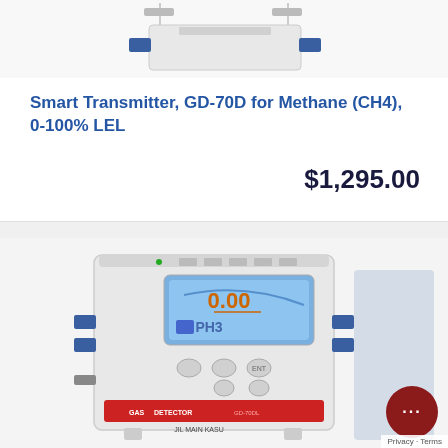[Figure (photo): Top portion of Smart Transmitter GD-70D device, showing the mounting bracket and top of the unit with blue connectors]
Smart Transmitter, GD-70D for Methane (CH4), 0-100% LEL
$1,295.00
[Figure (photo): Gas detector Smart Transmitter device (GD-70D series) showing front panel with blue LCD display showing 0.00 PH3 reading, buttons, red alarm indicator at bottom labeled GAS DETECTOR, and JIL brand marking]